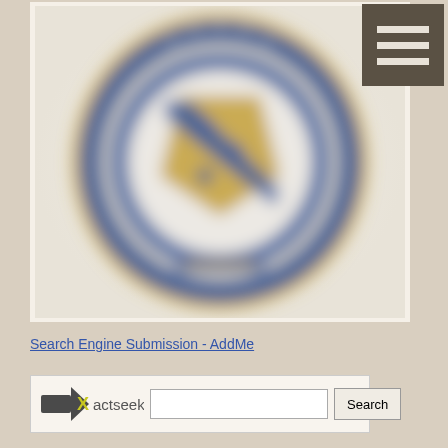[Figure (logo): Blurred circular government seal with blue and gold colors, featuring a shield with diagonal stripe and stars/fleurs-de-lis pattern, surrounded by text border]
Search Engine Submission - AddMe
[Figure (logo): Exactseek logo with search input field and Search button]